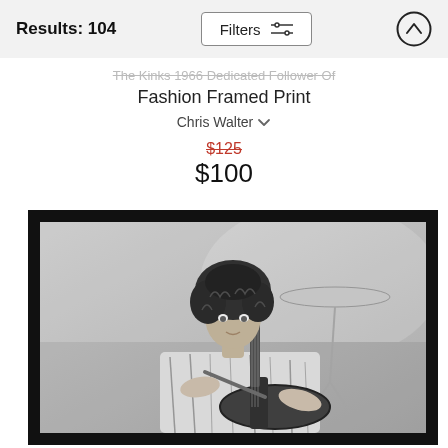Results: 104
The Kinks 1966 Dedicated Follower Of Fashion Framed Print
Chris Walter
$125 $100
[Figure (photo): Black and white photograph of a curly-haired musician playing electric guitar on stage, with drum kit visible in background]